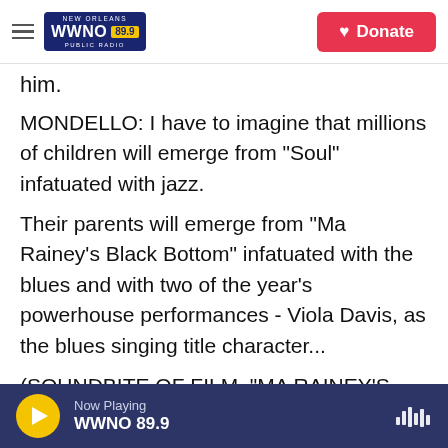NEW ORLEANS WWNO 89.9 PUBLIC RADIO | Donate
him.
MONDELLO: I have to imagine that millions of children will emerge from "Soul" infatuated with jazz.
Their parents will emerge from "Ma Rainey's Black Bottom" infatuated with the blues and with two of the year's powerhouse performances - Viola Davis, as the blues singing title character...
(SOUNDBITE OF FILM, "MA RAINEY'S BLACK BOTTOM")
Now Playing WWNO 89.9